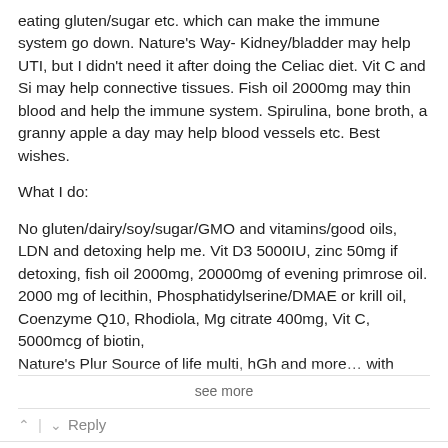eating gluten/sugar etc. which can make the immune system go down. Nature's Way- Kidney/bladder may help UTI, but I didn't need it after doing the Celiac diet. Vit C and Si may help connective tissues. Fish oil 2000mg may thin blood and help the immune system. Spirulina, bone broth, a granny apple a day may help blood vessels etc. Best wishes.
What I do:
No gluten/dairy/soy/sugar/GMO and vitamins/good oils, LDN and detoxing help me. Vit D3 5000IU, zinc 50mg if detoxing, fish oil 2000mg, 20000mg of evening primrose oil. 2000 mg of lecithin, Phosphatidylserine/DMAE or krill oil, Coenzyme Q10, Rhodiola, Mg citrate 400mg, Vit C, 5000mcg of biotin, Nature's Plur Source of life multi, hGh and more... with
see more
mindfulMD
7 years ago
The entire medical and drug allopathic for profit industry is based in disease marketing to sell useless and debilitating or